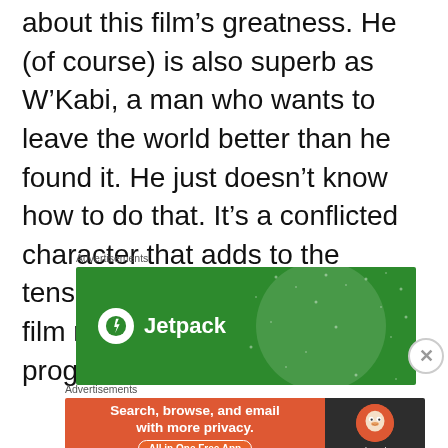about this film’s greatness. He (of course) is also superb as W’Kabi, a man who wants to leave the world better than he found it. He just doesn’t know how to do that. It’s a conflicted character that adds to the tension and ultimately gives the film more stakes as it progresses.
[Figure (other): Jetpack advertisement banner with green background and Jetpack logo and wordmark]
[Figure (other): DuckDuckGo advertisement banner with orange left panel and dark right panel with duck logo]